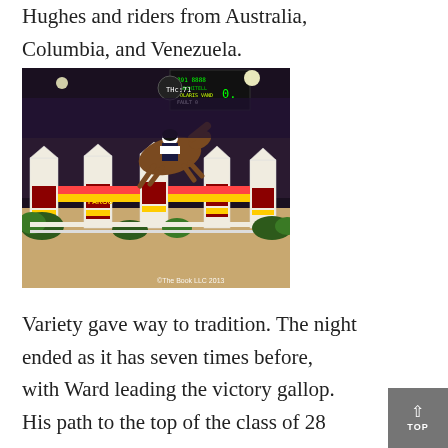Hughes and riders from Australia, Columbia, and Venezuela.
[Figure (photo): Equestrian show jumping photo at night: a rider on a brown horse clearing a large white and red fence with Wells Fargo branding. A scoreboard shows THc:71 in background. Photo credit: ©The Book LLC 2013]
Variety gave way to tradition. The night ended as it has seven times before, with Ward leading the victory gallop. His path to the top of the class of 28